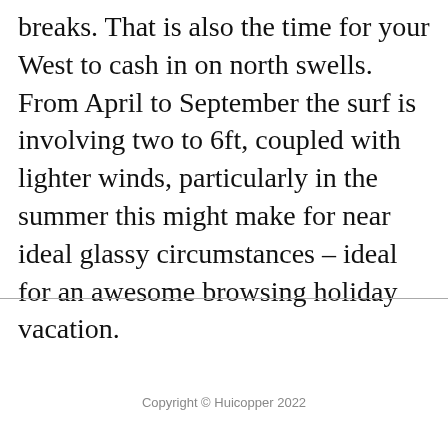breaks. That is also the time for your West to cash in on north swells. From April to September the surf is involving two to 6ft, coupled with lighter winds, particularly in the summer this might make for near ideal glassy circumstances – ideal for an awesome browsing holiday vacation.
Copyright © Huicopper 2022